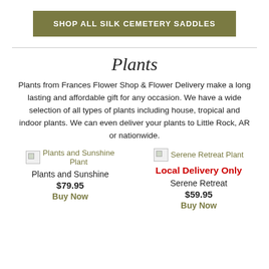SHOP ALL SILK CEMETERY SADDLES
Plants
Plants from Frances Flower Shop & Flower Delivery make a long lasting and affordable gift for any occasion. We have a wide selection of all types of plants including house, tropical and indoor plants. We can even deliver your plants to Little Rock, AR or nationwide.
[Figure (photo): Plants and Sunshine Plant product image (broken/loading)]
Plants and Sunshine Plant
Plants and Sunshine
$79.95
Buy Now
[Figure (photo): Serene Retreat Plant product image (broken/loading)]
Serene Retreat Plant
Local Delivery Only
Serene Retreat
$59.95
Buy Now